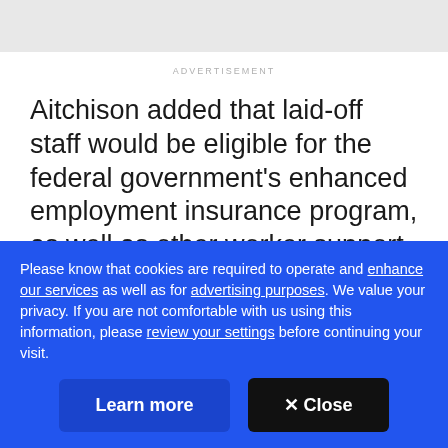ADVERTISEMENT
Aitchison added that laid-off staff would be eligible for the federal government's enhanced employment insurance program, as well as other worker support programs.
[Figure (photo): Partial view of a photo strip showing people, partially cropped by cookie consent banner]
Please know that cookies are required to operate and enhance our services as well as for advertising purposes. We value your privacy. If you are not comfortable with us using this information, please review your settings before continuing your visit.
Learn more
✕ Close